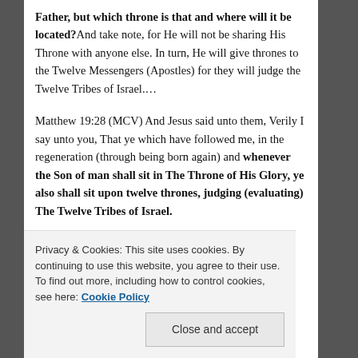Father, but which throne is that and where will it be located? And take note, for He will not be sharing His Throne with anyone else. In turn, He will give thrones to the Twelve Messengers (Apostles) for they will judge the Twelve Tribes of Israel.…
Matthew 19:28 (MCV) And Jesus said unto them, Verily I say unto you, That ye which have followed me, in the regeneration (through being born again) and whenever the Son of man shall sit in The Throne of His Glory, ye also shall sit upon twelve thrones, judging (evaluating) The Twelve Tribes of Israel.
Privacy & Cookies: This site uses cookies. By continuing to use this website, you agree to their use. To find out more, including how to control cookies, see here: Cookie Policy